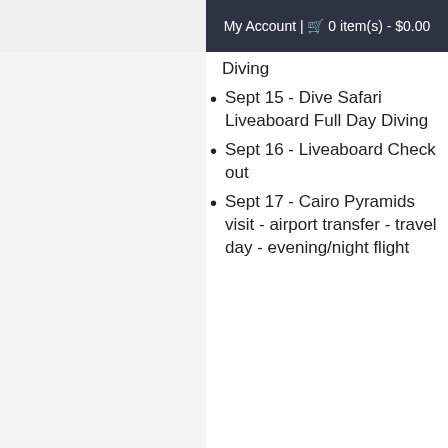My Account | 🛒 0 item(s) - $0.00
Diving
Sept 15 - Dive Safari Liveaboard Full Day Diving
Sept 16 - Liveaboard Check out
Sept 17 - Cairo Pyramids visit - airport transfer - travel day - evening/night flight